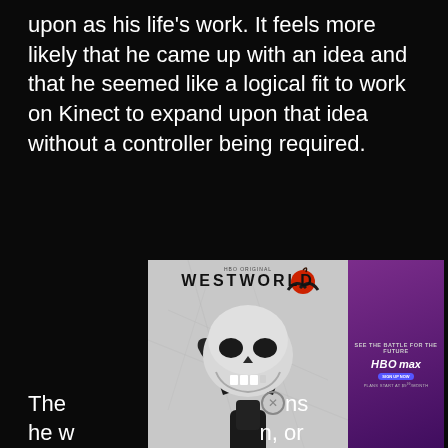upon as his life's work. It feels more likely that he came up with an idea and that he seemed like a logical fit to work on Kinect to expand upon that idea without a controller being required.
[Figure (photo): Advertisement for HBO Max's Westworld. Left side shows black and white image of a robotic hand holding a skull with 'HBO ORIGINAL' and 'WESTWORLD' text. Right side has purple gradient background with 'SEE THE BATTLE FOR THE FUTURE', 'HBO max', 'SIGN UP NOW' button, and 'PLANS START AT $9.99/MONTH' text.]
The [obscured by ad] ns he w[obscured by ad] n, or